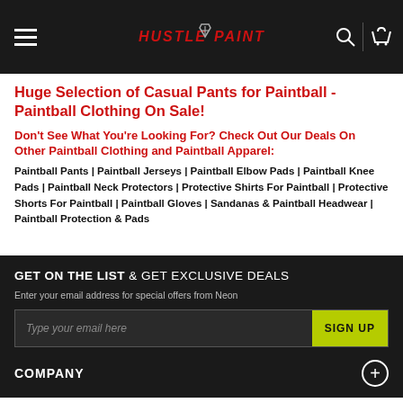Hustle Paintball - navigation bar with logo, menu, search, and cart icons
Huge Selection of Casual Pants for Paintball - Paintball Clothing On Sale!
Don't See What You're Looking For? Check Out Our Deals On Other Paintball Clothing and Paintball Apparel:
Paintball Pants | Paintball Jerseys | Paintball Elbow Pads | Paintball Knee Pads | Paintball Neck Protectors | Protective Shirts For Paintball | Protective Shorts For Paintball | Paintball Gloves | Sandanas & Paintball Headwear | Paintball Protection & Pads
GET ON THE LIST & GET EXCLUSIVE DEALS
Enter your email address for special offers from Neon
Type your email here    SIGN UP
COMPANY